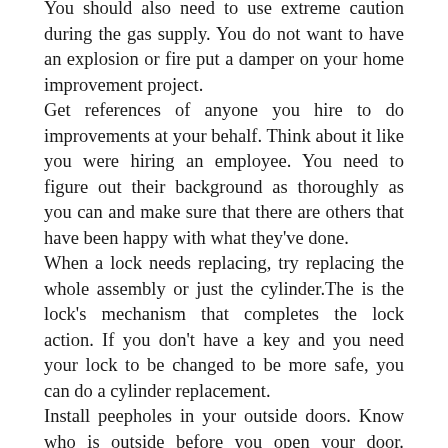You should also need to use extreme caution during the gas supply. You do not want to have an explosion or fire put a damper on your home improvement project.
Get references of anyone you hire to do improvements at your behalf. Think about it like you were hiring an employee. You need to figure out their background as thoroughly as you can and make sure that there are others that have been happy with what they've done.
When a lock needs replacing, try replacing the whole assembly or just the cylinder.The is the lock's mechanism that completes the lock action. If you don't have a key and you need your lock to be changed to be more safe, you can do a cylinder replacement.
Install peepholes in your outside doors. Know who is outside before you open your door. Installing a peephole is a relatively easy job and costs very little.All you will really need is a good drill and some extra time. A peephole can give you the peace of mind whenever you need next time someone knocks on the door.
A beautifully crafted entrance door can lead to an increase a